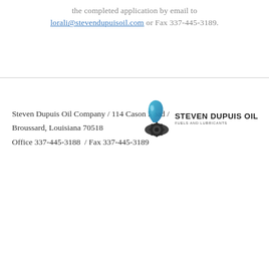the completed application by email to lorali@stevendupuisoil.com or Fax 337-445-3189.
Steven Dupuis Oil Company / 114 Cason Road / Broussard, Louisiana 70518
Office 337-445-3188 / Fax 337-445-3189
[Figure (logo): Steven Dupuis Oil Company logo with a blue oil drop and gear icon, and text 'STEVEN DUPUIS OIL FUELS AND LUBRICANTS']